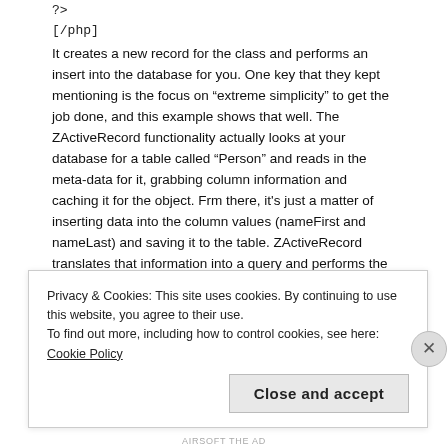?>
[/php]
It creates a new record for the class and performs an insert into the database for you. One key that they kept mentioning is the focus on "extreme simplicity" to get the job done, and this example shows that well. The ZActiveRecord functionality actually looks at your database for a table called "Person" and reads in the meta-data for it, grabbing column information and caching it for the object. Frm there, it's just a matter of inserting data into the column values (nameFirst and nameLast) and saving it to the table. ZActiveRecord translates that information into a query and performs the insert all for you.
In this other example using the ZActiveRecord, a query is made for the matching values of nameFirst and nameLast and a row is
Privacy & Cookies: This site uses cookies. By continuing to use this website, you agree to their use.
To find out more, including how to control cookies, see here: Cookie Policy
Close and accept